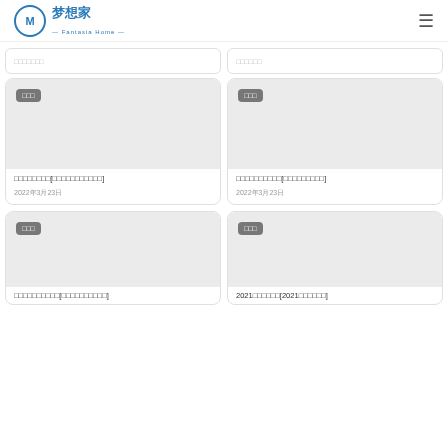梦想家 (logo) — navigation menu
[Figure (screenshot): Partial card top-left with truncated Chinese text]
[Figure (screenshot): Partial card top-right with truncated Chinese text]
[Figure (screenshot): Card with gray image placeholder, tag '图文', title with Chinese characters in brackets, date 2022年3月23日]
[Figure (screenshot): Card with gray image placeholder, tag '图文', title with Chinese characters in brackets, date 2022年3月23日]
[Figure (screenshot): Partial bottom card left with gray image placeholder, tag '图文', partial Chinese title]
[Figure (screenshot): Partial bottom card right with gray image placeholder, tag '图文', partial title starting 2021]